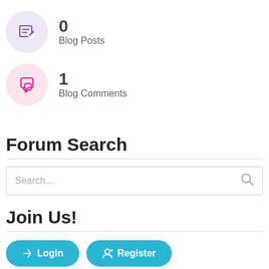0
Blog Posts
1
Blog Comments
Forum Search
Search...
Join Us!
Login
Register
Advert...